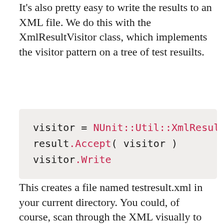It's also pretty easy to write the results to an XML file. We do this with the XmlResultVisitor class, which implements the visitor pattern on a tree of test resuilts.
visitor = NUnit::Util::XmlResultV
result.Accept( visitor )
visitor.Write
This creates a file named testresult.xml in your current directory. You could, of course, scan through the XML visually to find the failures, but lets write some Ruby to print the errors from the result tree